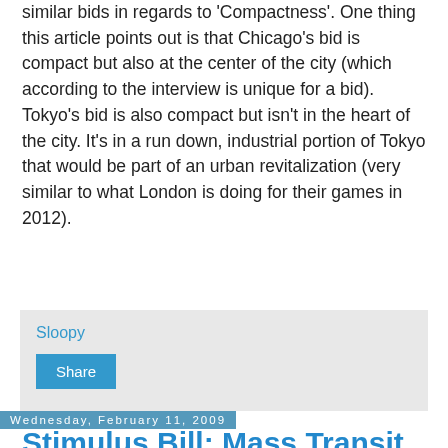similar bids in regards to 'Compactness'. One thing this article points out is that Chicago's bid is compact but also at the center of the city (which according to the interview is unique for a bid). Tokyo's bid is also compact but isn't in the heart of the city. It's in a run down, industrial portion of Tokyo that would be part of an urban revitalization (very similar to what London is doing for their games in 2012).
Sloopy
Share
Wednesday, February 11, 2009
Stimulus Bill: Mass Transit Compromises?
Interesting post on the CTA tattler talking about the mass transit portion of the proposed Stimulus bill. The House and Senate seem to be on different sides of the table on this issue. Take a look at this chart:
[Figure (other): Partial bottom edge of a chart or table (cut off at page bottom)]